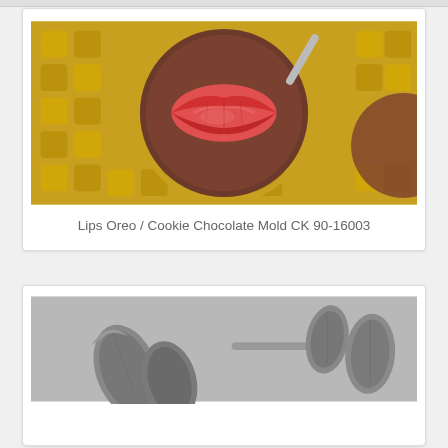[Figure (photo): Close-up photo of a chocolate Oreo/cookie mold with red lips shape in center, on gold foil background]
Lips Oreo / Cookie Chocolate Mold CK 90-16003
[Figure (photo): Black and white photo of leaf-shaped metal cake decorating tips/tools on a gray background]